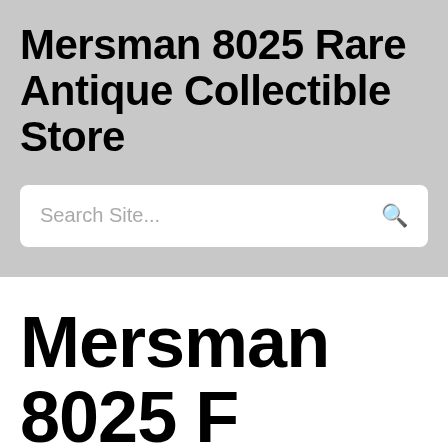Mersman 8025 Rare Antique Collectible Store
Search Site...
Mersman 8025 F…